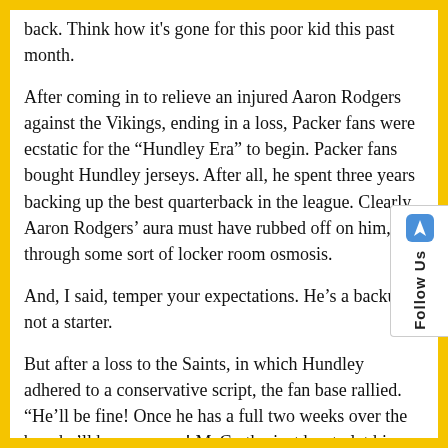back. Think how it's gone for this poor kid this past month.
After coming in to relieve an injured Aaron Rodgers against the Vikings, ending in a loss, Packer fans were ecstatic for the “Hundley Era” to begin. Packer fans bought Hundley jerseys. After all, he spent three years backing up the best quarterback in the league. Clearly, Aaron Rodgers’ aura must have rubbed off on him, through some sort of locker room osmosis.
And, I said, temper your expectations. He’s a backup, not a starter.
But after a loss to the Saints, in which Hundley adhered to a conservative script, the fan base rallied. “He’ll be fine! Once he has a full two weeks over the bye, he’ll be awesome! McCarthy just has to let him play!”
And I said, temper your expectations. He just needs to manage the game and let the players around him help him out.